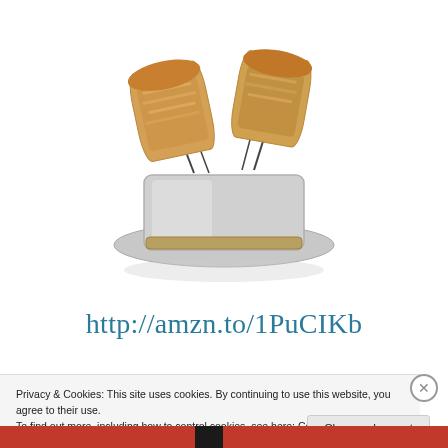[Figure (photo): A silver/chrome pop-up toaster with two slices of golden-brown toast raised up, viewed from a slight angle on a white background.]
http://amzn.to/1PuCIKb
Privacy & Cookies: This site uses cookies. By continuing to use this website, you agree to their use.
To find out more, including how to control cookies, see here: Cookie Policy
Close and accept